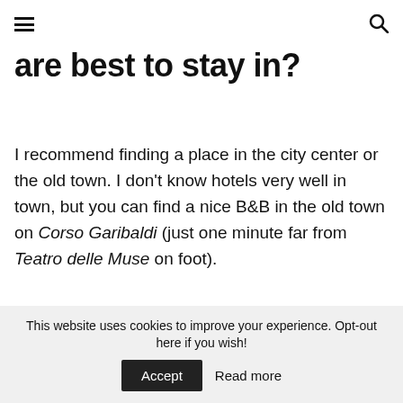≡ [hamburger icon] | [search icon]
are best to stay in?
I recommend finding a place in the city center or the old town. I don't know hotels very well in town, but you can find a nice B&B in the old town on Corso Garibaldi (just one minute far from Teatro delle Muse on foot).
This website uses cookies to improve your experience. Opt-out here if you wish! Accept  Read more